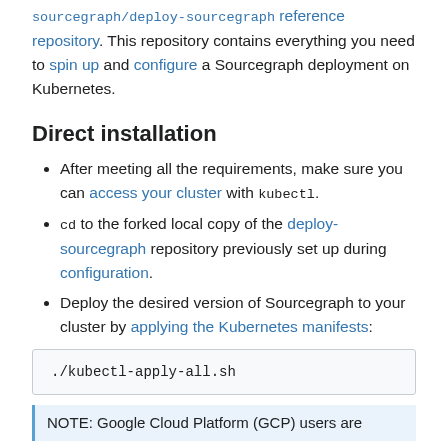sourcegraph/deploy-sourcegraph reference repository. This repository contains everything you need to spin up and configure a Sourcegraph deployment on Kubernetes.
Direct installation
After meeting all the requirements, make sure you can access your cluster with kubectl.
cd to the forked local copy of the deploy-sourcegraph repository previously set up during configuration.
Deploy the desired version of Sourcegraph to your cluster by applying the Kubernetes manifests:
./kubectl-apply-all.sh
NOTE: Google Cloud Platform (GCP) users are